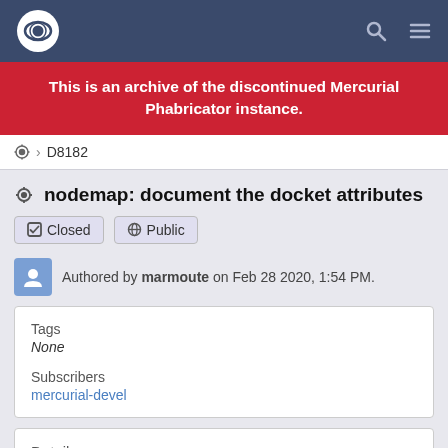Mercurial Phabricator navigation bar
This is an archive of the discontinued Mercurial Phabricator instance.
⚙ > D8182
nodemap: document the docket attributes
✓ Closed   🌐 Public
Authored by marmoute on Feb 28 2020, 1:54 PM.
| Tags | Subscribers |
| --- | --- |
| None | mercurial-devel |
Details